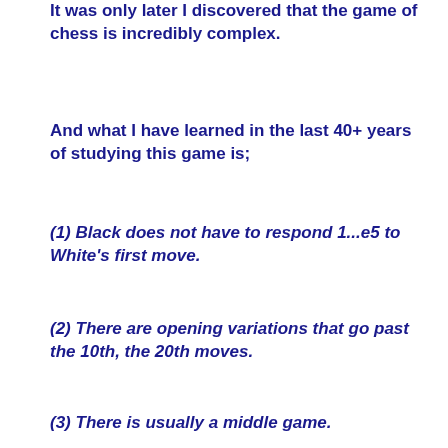It was only later I discovered that the game of chess is incredibly complex.
And what I have learned in the last 40+ years of studying this game is;
(1) Black does not have to respond 1...e5 to White's first move.
(2) There are opening variations that go past the 10th, the 20th moves.
(3) There is usually a middle game.